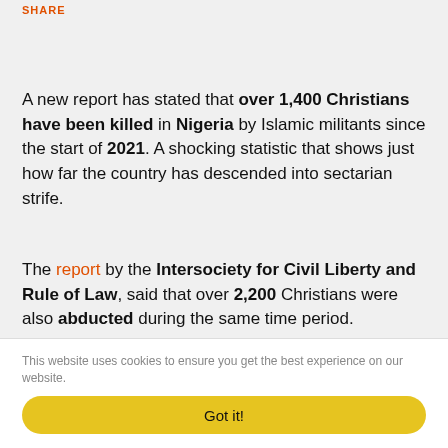SHARE
A new report has stated that over 1,400 Christians have been killed in Nigeria by Islamic militants since the start of 2021. A shocking statistic that shows just how far the country has descended into sectarian strife.
The report by the Intersociety for Civil Liberty and Rule of Law, said that over 2,200 Christians were also abducted during the same time period.
This website uses cookies to ensure you get the best experience on our website.
Got it!